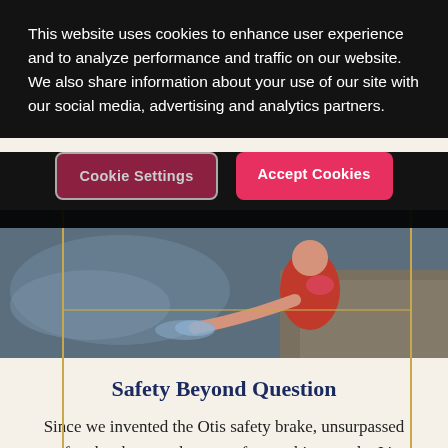This website uses cookies to enhance user experience and to analyze performance and traffic on our website. We also share information about your use of our site with our social media, advertising and analytics partners.
[Figure (other): Two buttons: 'Cookie Settings' (dark red with border) and 'Accept Cookies' (bright pink/red), displayed on a dark cookie consent overlay banner.]
[Figure (photo): A child in red clothing crouching near water, reaching toward the water surface. Warm tones with reflections visible.]
Safety Beyond Question
Since we invented the Otis safety brake, unsurpassed safety has been at the core of everything we do. It's one of the building blocks of the Otis brand. So, you won't be surprised to learn that we have